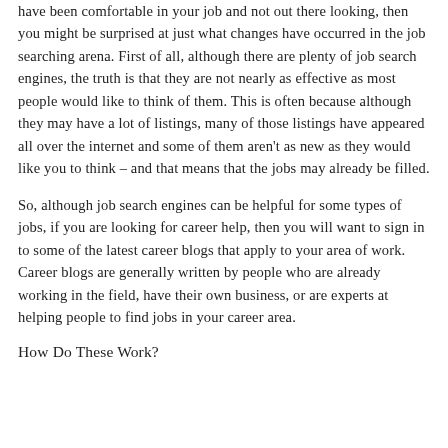have been comfortable in your job and not out there looking, then you might be surprised at just what changes have occurred in the job searching arena. First of all, although there are plenty of job search engines, the truth is that they are not nearly as effective as most people would like to think of them. This is often because although they may have a lot of listings, many of those listings have appeared all over the internet and some of them aren't as new as they would like you to think – and that means that the jobs may already be filled.
So, although job search engines can be helpful for some types of jobs, if you are looking for career help, then you will want to sign in to some of the latest career blogs that apply to your area of work. Career blogs are generally written by people who are already working in the field, have their own business, or are experts at helping people to find jobs in your career area.
How Do These Work?